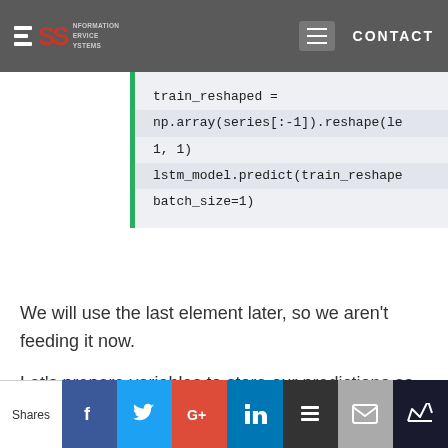ISS Information Service Systems — CONTACT
[Figure (screenshot): Code block showing: train_reshaped = np.array(series[:-1]).reshape(len, 1, 1)  lstm_model.predict(train_reshaped, batch_size=1)]
We will use the last element later, so we aren't feeding it now.
Let's prepare variables to store our predictions so that later we could draw it in the plot.
Shares — social share buttons: Facebook, Twitter, Google+, LinkedIn, Buffer, Mail, King